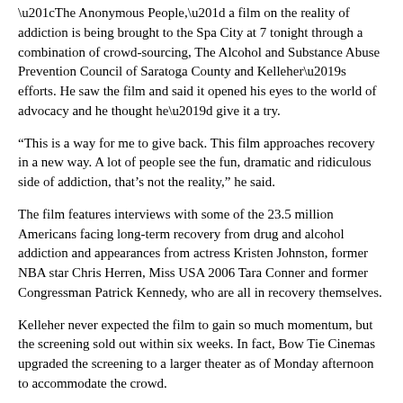“The Anonymous People,” a film on the reality of addiction is being brought to the Spa City at 7 tonight through a combination of crowd-sourcing, The Alcohol and Substance Abuse Prevention Council of Saratoga County and Kelleher’s efforts. He saw the film and said it opened his eyes to the world of advocacy and he thought he’d give it a try.
“This is a way for me to give back. This film approaches recovery in a new way. A lot of people see the fun, dramatic and ridiculous side of addiction, that’s not the reality,” he said.
The film features interviews with some of the 23.5 million Americans facing long-term recovery from drug and alcohol addiction and appearances from actress Kristen Johnston, former NBA star Chris Herren, Miss USA 2006 Tara Conner and former Congressman Patrick Kennedy, who are all in recovery themselves.
Kelleher never expected the film to gain so much momentum, but the screening sold out within six weeks. In fact, Bow Tie Cinemas upgraded the screening to a larger theater as of Monday afternoon to accommodate the crowd.